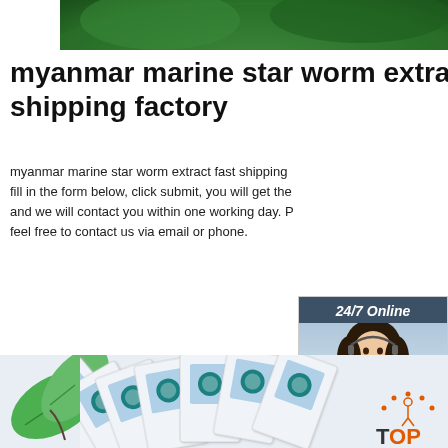[Figure (photo): Green leaves background photo at top of page]
myanmar marine star worm extract fast shipping factory
myanmar marine star worm extract fast shipping factory fill in the form below, click submit, you will get the and we will contact you within one working day. feel free to contact us via email or phone.
[Figure (illustration): Sidebar widget with 24/7 Online header, customer service representative photo, 'Click here for free chat!' text, and QUOTATION button]
[Figure (photo): Green leaves and product packaging cards fanned out at bottom of page with TOP badge logo]